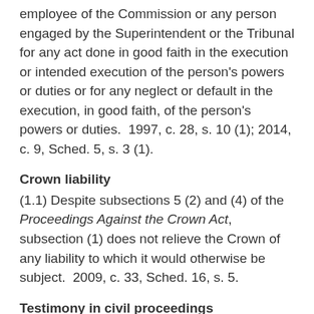employee of the Commission or any person engaged by the Superintendent or the Tribunal for any act done in good faith in the execution or intended execution of the person's powers or duties or for any neglect or default in the execution, in good faith, of the person's powers or duties.  1997, c. 28, s. 10 (1); 2014, c. 9, Sched. 5, s. 3 (1).
Crown liability
(1.1) Despite subsections 5 (2) and (4) of the Proceedings Against the Crown Act, subsection (1) does not relieve the Crown of any liability to which it would otherwise be subject.  2009, c. 33, Sched. 16, s. 5.
Testimony in civil proceedings